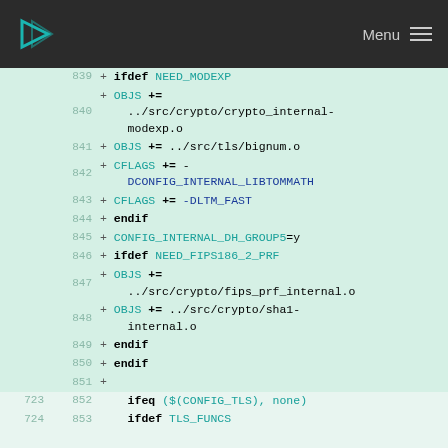Menu (navigation bar)
[Figure (screenshot): Code diff view showing lines 839-853 of a Makefile with added lines (marked with +) for conditional compilation blocks including NEED_MODEXP, CFLAGS, CONFIG_INTERNAL_DH_GROUP5, NEED_FIPS186_2_PRF sections, and normal lines 852-853 with ifeq and ifdef directives.]